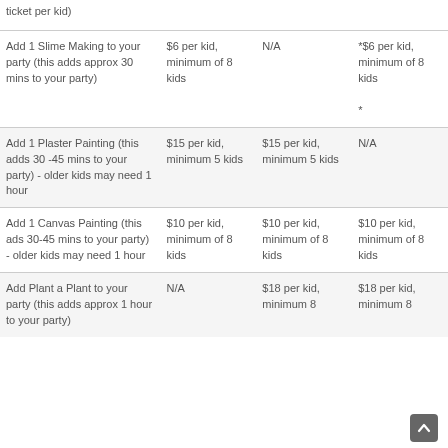| ticket per kid) |  |  |  |
| Add 1 Slime Making to your party (this adds approx 30 mins to your party) | $6 per kid, minimum of 8 kids | N/A | *$6 per kid, minimum of 8 kids
* |
| Add 1 Plaster Painting (this adds 30 -45 mins to your party) - older kids may need 1 hour | $15 per kid, minimum 5 kids | $15 per kid, minimum 5 kids | N/A |
| Add 1 Canvas Painting (this ads 30-45 mins to your party) - older kids may need 1 hour | $10 per kid, minimum of 8 kids | $10 per kid, minimum of 8 kids | $10 per kid, minimum of 8 kids |
| Add Plant a Plant to your party (this adds approx 1 hour to your party) | N/A | $18 per kid, minimum 8 | $18 per kid, minimum 8 |